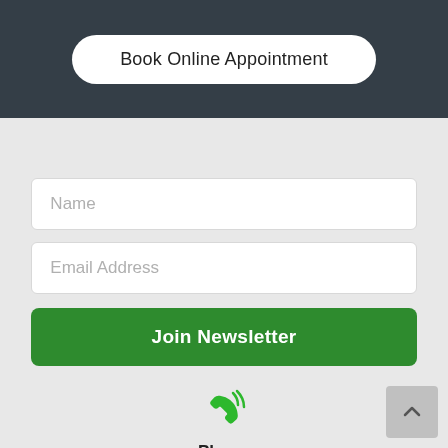Book Online Appointment
[Figure (screenshot): Name input field placeholder]
[Figure (screenshot): Email Address input field placeholder]
Join Newsletter
[Figure (illustration): Green phone icon with signal waves]
Phone